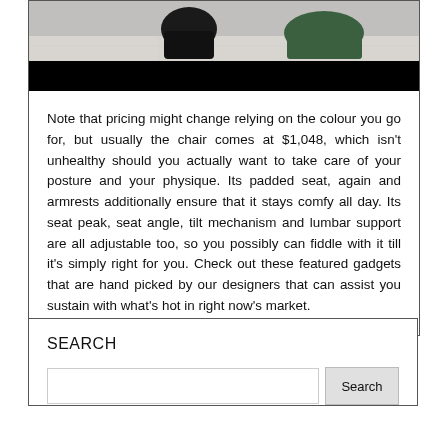[Figure (photo): Photo of a person sitting/crouching, partially visible at top, with a dark black bar at the bottom of the image area.]
Note that pricing might change relying on the colour you go for, but usually the chair comes at $1,048, which isn't unhealthy should you actually want to take care of your posture and your physique. Its padded seat, again and armrests additionally ensure that it stays comfy all day. Its seat peak, seat angle, tilt mechanism and lumbar support are all adjustable too, so you possibly can fiddle with it till it's simply right for you. Check out these featured gadgets that are hand picked by our designers that can assist you sustain with what's hot in right now's market.
SEARCH